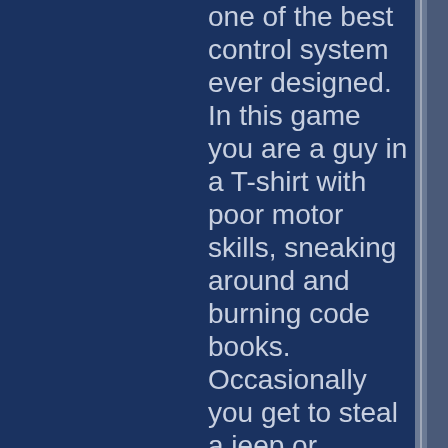one of the best control system ever designed. In this game you are a guy in a T-shirt with poor motor skills, sneaking around and burning code books. Occasionally you get to steal a jeep or perform seemingly impossible